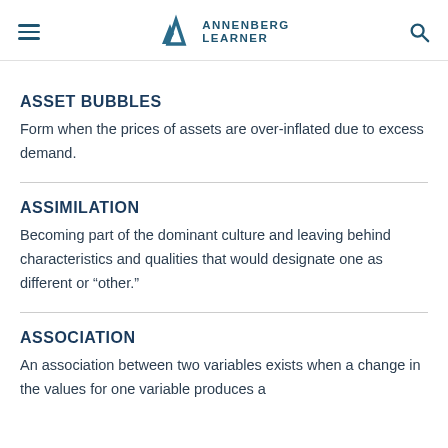ANNENBERG LEARNER
ASSET BUBBLES
Form when the prices of assets are over-inflated due to excess demand.
ASSIMILATION
Becoming part of the dominant culture and leaving behind characteristics and qualities that would designate one as different or “other.”
ASSOCIATION
An association between two variables exists when a change in the values for one variable produces a